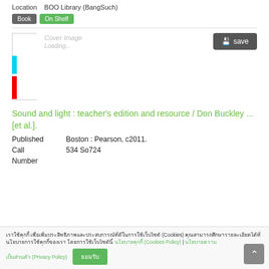Location : BOO Library (BangSuch)
Book | On Shelf
[Figure (illustration): Book cover placeholder with cyan and red color blocks, showing 'Cover Image Loading...' text]
Sound and light : teacher’s edition and resource / Don Buckley ... [et al.].
Published  Boston : Pearson, c2011.
Call Number  534 So724
Cookie consent bar with Thai text and links to Cookies Policy and Privacy Policy